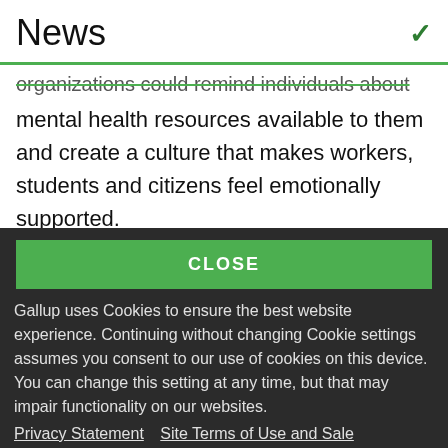News
organizations could remind individuals about mental health resources available to them and create a culture that makes workers, students and citizens feel emotionally supported.
These data are available in Gallup Analytics
CLOSE
Gallup uses Cookies to ensure the best website experience. Continuing without changing Cookie settings assumes you consent to our use of cookies on this device. You can change this setting at any time, but that may impair functionality on our websites.
Privacy Statement   Site Terms of Use and Sale
Product Terms of Use   Adjust your cookie settings.